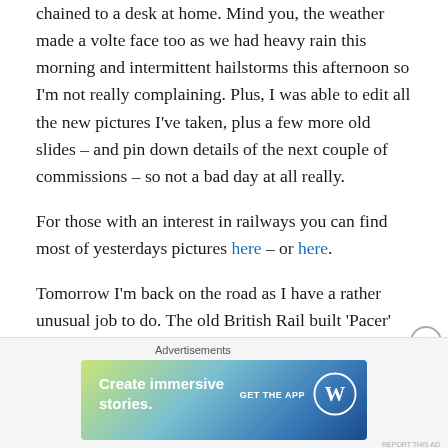chained to a desk at home. Mind you, the weather made a volte face too as we had heavy rain this morning and intermittent hailstorms this afternoon so I'm not really complaining. Plus, I was able to edit all the new pictures I've taken, plus a few more old slides – and pin down details of the next couple of commissions – so not a bad day at all really.
For those with an interest in railways you can find most of yesterdays pictures here – or here.
Tomorrow I'm back on the road as I have a rather unusual job to do. The old British Rail built 'Pacer' trains may have been retired, but some of the vehicles are finding new
[Figure (other): WordPress advertisement banner: 'Create immersive stories. GET THE APP' with WordPress logo on blue-green gradient background]